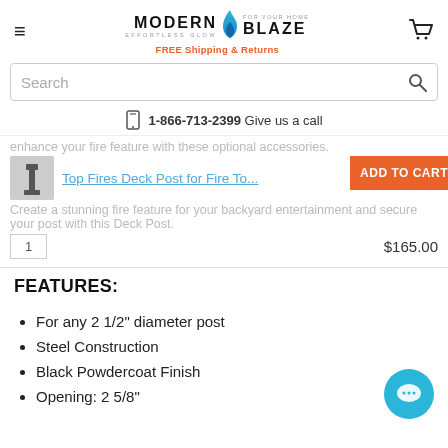[Figure (logo): Modern Blaze logo with flame icon and 'FREE Shipping & Returns' tagline]
Search
1-866-713-2399 Give us a call
enhance your fire feature with these optional accessories.
Top Fires Deck Post for Fire To...
Create a stunning fire feature for your backyard entertainment and secure your post with this Deck Post.
$165.00
FEATURES:
For any 2 1/2" diameter post
Steel Construction
Black Powdercoat Finish
Opening: 2 5/8"